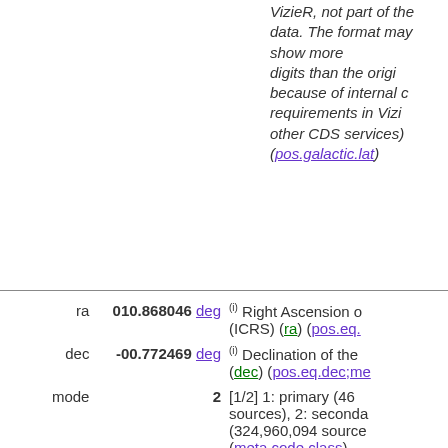VizieR, not part of the original data. The format may show more digits than the original, because of internal conversion requirements in VizieR and other CDS services) (pos.galactic.lat)
| Field | Value | Description |
| --- | --- | --- |
| ra | 010.868046 deg | (i) Right Ascension of the object (ICRS) (ra) (pos.eq.ra;meta.main) |
| dec | -00.772469 deg | (i) Declination of the object (dec) (pos.eq.dec;meta.main) |
| mode | 2 | [1/2] 1: primary (469,053,874 sources), 2: secondary (324,960,094 sources) (meta.code.class) |
| clean |  | [+] '+' indicates clean photometry (310,190,812 sources with mode 1+) (clean) (meta.code.qual;instr.det.psf) |
| class | 3 | Type of object (3=galaxy) (Note 1) (src.class) |
| SDSS12 | J004328.33-004620.8 | (i) SDSS-DR12 name |